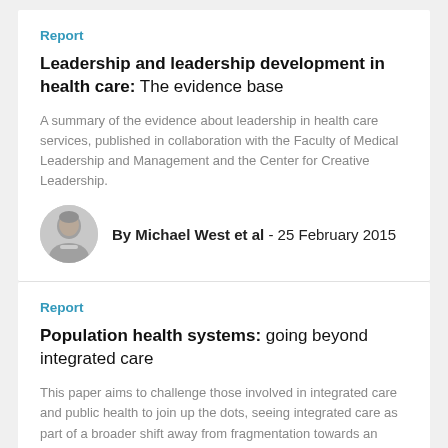Report
Leadership and leadership development in health care: The evidence base
A summary of the evidence about leadership in health care services, published in collaboration with the Faculty of Medical Leadership and Management and the Center for Creative Leadership.
By Michael West et al - 25 February 2015
Report
Population health systems: going beyond integrated care
This paper aims to challenge those involved in integrated care and public health to join up the dots, seeing integrated care as part of a broader shift away from fragmentation towards an approach focused on improving population